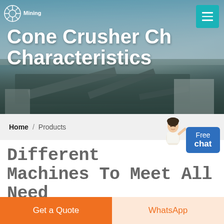[Figure (photo): Industrial mining facility header banner with conveyor belts and processing equipment, teal/blue tones]
Cone Crusher Characteristics
Home / Products
Different Machines To Meet All Need
[Figure (photo): Interior of an industrial warehouse/manufacturing facility with steel roof structure]
Get a Quote
WhatsApp